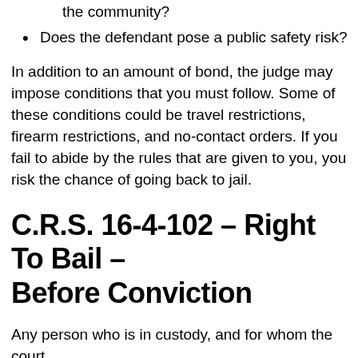the community?
Does the defendant pose a public safety risk?
In addition to an amount of bond, the judge may impose conditions that you must follow. Some of these conditions could be travel restrictions, firearm restrictions, and no-contact orders. If you fail to abide by the rules that are given to you, you risk the chance of going back to jail.
C.R.S. 16-4-102 – Right To Bail – Before Conviction
Any person who is in custody, and for whom the court has not yet...